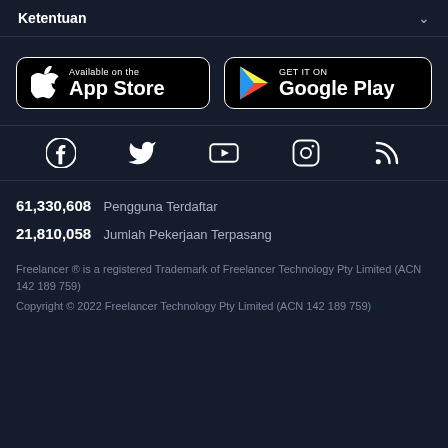Ketentuan
[Figure (screenshot): App Store and Google Play store download buttons]
[Figure (infographic): Social media icons: Facebook, Twitter, YouTube, Instagram, RSS]
61,330,608  Pengguna Terdaftar
21,810,058  Jumlah Pekerjaan Terpasang
Freelancer ® is a registered Trademark of Freelancer Technology Pty Limited (ACN 142 189 759)
Copyright © 2022 Freelancer Technology Pty Limited (ACN 142 189 759)